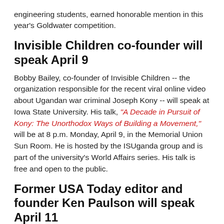engineering students, earned honorable mention in this year's Goldwater competition.
Invisible Children co-founder will speak April 9
Bobby Bailey, co-founder of Invisible Children -- the organization responsible for the recent viral online video about Ugandan war criminal Joseph Kony -- will speak at Iowa State University. His talk, "A Decade in Pursuit of Kony: The Unorthodox Ways of Building a Movement," will be at 8 p.m. Monday, April 9, in the Memorial Union Sun Room. He is hosted by the ISUganda group and is part of the university's World Affairs series. His talk is free and open to the public.
Former USA Today editor and founder Ken Paulson will speak April 11